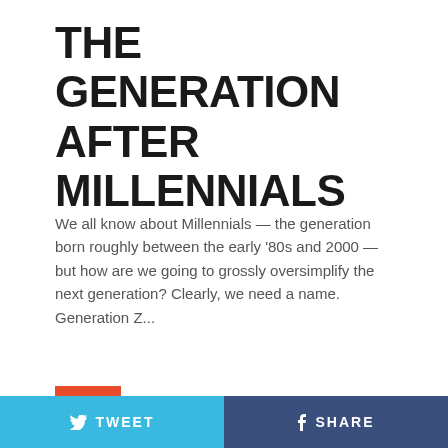THE GENERATION AFTER MILLENNIALS
We all know about Millennials — the generation born roughly between the early ‘80s and 2000 — but how are we going to grossly oversimplify the next generation? Clearly, we need a name. Generation Z...
[Figure (infographic): Share count badge showing number 8 in orange/red box, followed by Facebook and Twitter social share icons in grey]
[Figure (photo): Aerial photograph of a dark sleek boat or surfboard on dark blue ocean water]
[Figure (infographic): Bottom bar with two buttons: TWEET button in light blue on the left and SHARE button in dark blue on the right, both with social media icons]